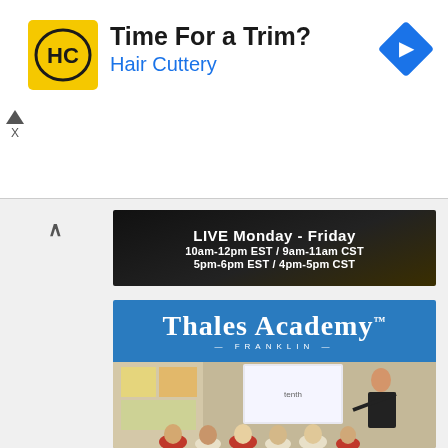[Figure (screenshot): Hair Cuttery advertisement banner with logo, tagline 'Time For a Trim?', brand name 'Hair Cuttery' in blue, and navigation arrow icon]
[Figure (infographic): Dark banner showing live broadcast schedule: LIVE Monday - Friday, 10am-12pm EST / 9am-11am CST, 5pm-6pm EST / 4pm-5pm CST]
[Figure (photo): Thales Academy Franklin advertisement with blue header logo area and classroom photo showing teacher pointing at a screen with young students seated on floor]